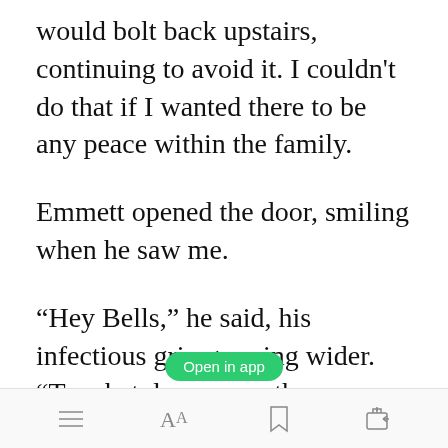would bolt back upstairs, continuing to avoid it. I couldn't do that if I wanted there to be any peace within the family.
Emmett opened the door, smiling when he saw me.
“Hey Bells,” he said, his infectious grin growing wider. “To what do we owe the pleasure?”